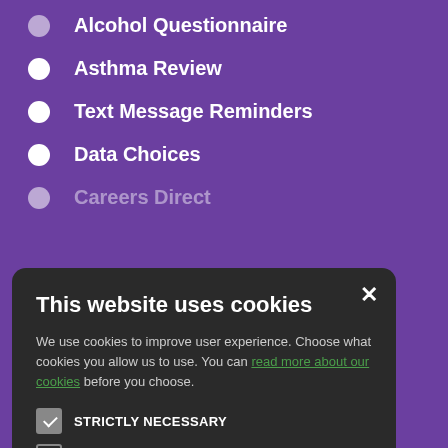Alcohol Questionnaire
Asthma Review
Text Message Reminders
Data Choices
Careers Direct
[Figure (screenshot): Cookie consent modal dialog with title 'This website uses cookies', body text about cookies, checkboxes for Strictly Necessary (checked), Performance, Targeting, Functionality, and two buttons: Accept All (green) and Decline All (outline).]
Long Term Conditions